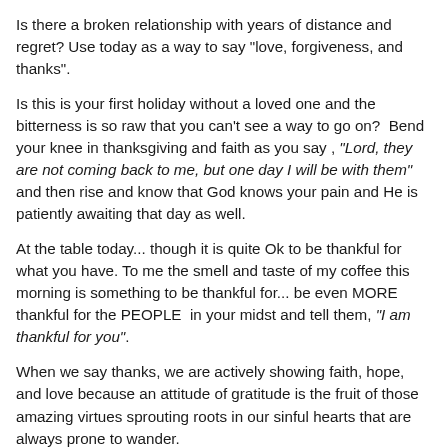Is there a broken relationship with years of distance and regret? Use today as a way to say "love, forgiveness, and thanks".
Is this is your first holiday without a loved one and the bitterness is so raw that you can't see a way to go on?  Bend your knee in thanksgiving and faith as you say , "Lord, they are not coming back to me, but one day I will be with them" and then rise and know that God knows your pain and He is patiently awaiting that day as well.
At the table today... though it is quite Ok to be thankful for what you have. To me the smell and taste of my coffee this morning is something to be thankful for... be even MORE thankful for the PEOPLE  in your midst and tell them, "I am thankful for you".
When we say thanks, we are actively showing faith, hope, and love because an attitude of gratitude is the fruit of those amazing virtues sprouting roots in our sinful hearts that are always prone to wander.